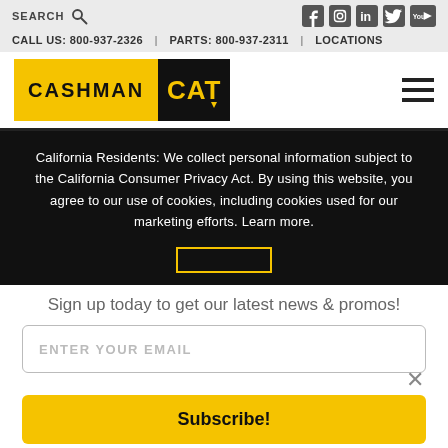SEARCH | CALL US: 800-937-2326 | PARTS: 800-937-2311 | LOCATIONS
[Figure (logo): Cashman CAT logo — yellow background with CASHMAN text and black CAT logo]
California Residents: We collect personal information subject to the California Consumer Privacy Act. By using this website, you agree to our use of cookies, including cookies used for our marketing efforts. Learn more.
Sign up today to get our latest news & promos!
ENTER YOUR EMAIL
Subscribe!